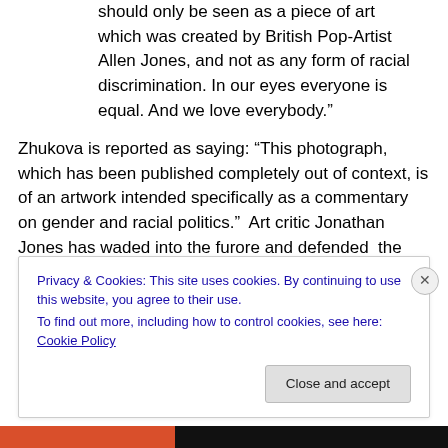should only be seen as a piece of art which was created by British Pop-Artist Allen Jones, and not as any form of racial discrimination. In our eyes everyone is equal. And we love everybody.”
Zhukova is reported as saying: “This photograph, which has been published completely out of context, is of an artwork intended specifically as a commentary on gender and racial politics.”  Art critic Jonathan Jones has waded into the furore and defended  the piece arguing that the intention is the opposite of racist:
Privacy & Cookies: This site uses cookies. By continuing to use this website, you agree to their use.
To find out more, including how to control cookies, see here: Cookie Policy
Close and accept